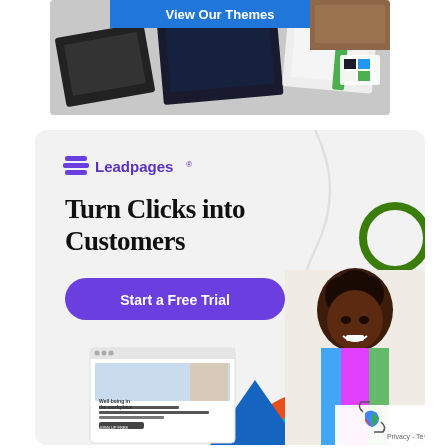[Figure (screenshot): Top advertisement showing website themes with blue 'View Our Themes' banner over mockup device screenshots]
[Figure (infographic): Leadpages advertisement with logo, headline 'Turn Clicks into Customers', purple 'Start a Free Trial' CTA button, woman photo, website mockup, decorative shapes and circles on light gray background]